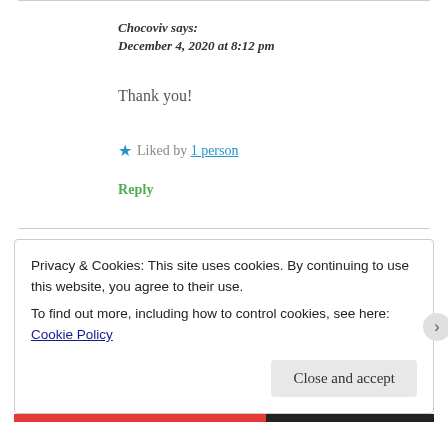Chocoviv says:
December 4, 2020 at 8:12 pm
Thank you!
★ Liked by 1 person
Reply
Privacy & Cookies: This site uses cookies. By continuing to use this website, you agree to their use.
To find out more, including how to control cookies, see here: Cookie Policy
Close and accept